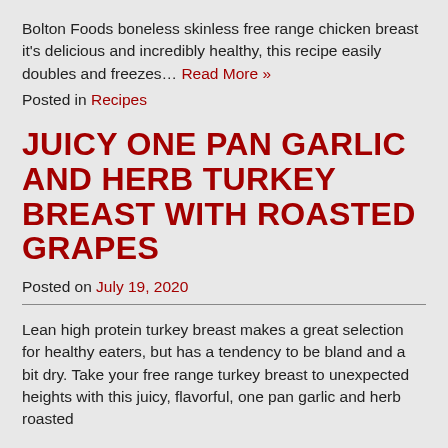Bolton Foods boneless skinless free range chicken breast it's delicious and incredibly healthy, this recipe easily doubles and freezes… Read More »
Posted in Recipes
JUICY ONE PAN GARLIC AND HERB TURKEY BREAST WITH ROASTED GRAPES
Posted on July 19, 2020
Lean high protein turkey breast makes a great selection for healthy eaters, but has a tendency to be bland and a bit dry. Take your free range turkey breast to unexpected heights with this juicy, flavorful, one pan garlic and herb roasted